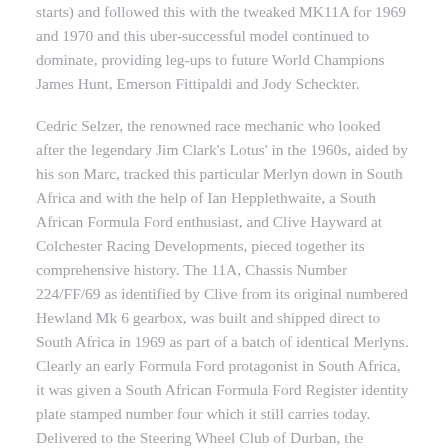starts) and followed this with the tweaked MK11A for 1969 and 1970 and this uber-successful model continued to dominate, providing leg-ups to future World Champions James Hunt, Emerson Fittipaldi and Jody Scheckter.
Cedric Selzer, the renowned race mechanic who looked after the legendary Jim Clark's Lotus' in the 1960s, aided by his son Marc, tracked this particular Merlyn down in South Africa and with the help of Ian Hepplethwaite, a South African Formula Ford enthusiast, and Clive Hayward at Colchester Racing Developments, pieced together its comprehensive history. The 11A, Chassis Number 224/FF/69 as identified by Clive from its original numbered Hewland Mk 6 gearbox, was built and shipped direct to South Africa in 1969 as part of a batch of identical Merlyns. Clearly an early Formula Ford protagonist in South Africa, it was given a South African Formula Ford Register identity plate stamped number four which it still carries today. Delivered to the Steering Wheel Club of Durban, the Merlyn was owned initially by Jos Viljeon and then passed to Bob Alsop in 1972. It was raced by Bob under the 'Team Gordons Bay' banner, often as